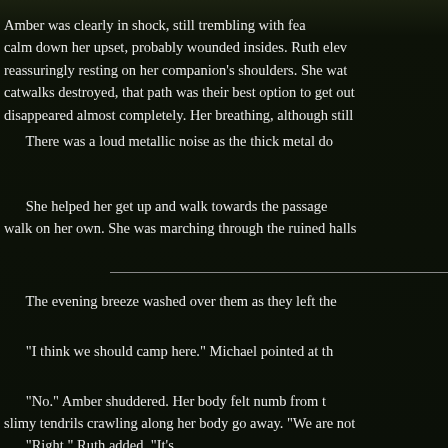Amber was clearly in shock, still trembling with fear... calm down her upset, probably wounded insides. Ruth elevated her hands reassuringly resting on her companion's shoulders. She watched the catwalks destroyed, that path was their best option to get out... disappeared almost completely. Her breathing, although still...
There was a loud metallic noise as the thick metal do...
She helped her get up and walk towards the passage... walk on her own. She was marching through the ruined halls...
The evening breeze washed over them as they left the...
"I think we should camp here." Michael pointed at th...
"No." Amber shuddered. Her body felt numb from t... slimy tendrils crawling along her body go away. "We are not...
"Right." Ruth added. "It's...